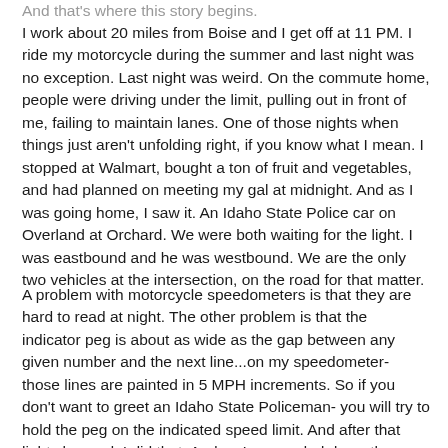And that's where this story begins.
I work about 20 miles from Boise and I get off at 11 PM. I ride my motorcycle during the summer and last night was no exception. Last night was weird. On the commute home, people were driving under the limit, pulling out in front of me, failing to maintain lanes. One of those nights when things just aren't unfolding right, if you know what I mean. I stopped at Walmart, bought a ton of fruit and vegetables, and had planned on meeting my gal at midnight. And as I was going home, I saw it. An Idaho State Police car on Overland at Orchard. We were both waiting for the light. I was eastbound and he was westbound. We are the only two vehicles at the intersection, on the road for that matter.
A problem with motorcycle speedometers is that they are hard to read at night. The other problem is that the indicator peg is about as wide as the gap between any given number and the next line...on my speedometer- those lines are painted in 5 MPH increments. So if you don't want to greet an Idaho State Policeman- you will try to hold the peg on the indicated speed limit. And after that light changed, I did that. And as I proceeded down the street, I watched as that Idaho